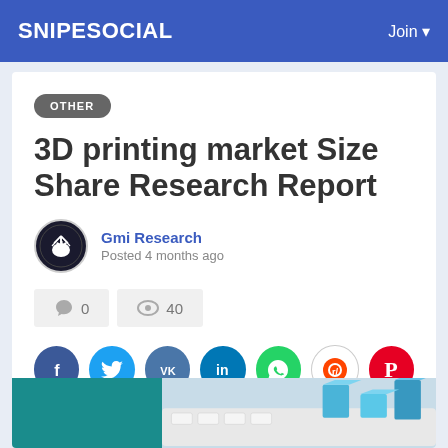SNIPESOCIAL   Join
OTHER
3D printing market Size Share Research Report
Gmi Research
Posted 4 months ago
0   40
[Figure (other): Social share buttons: Facebook, Twitter, VK, LinkedIn, WhatsApp, Reddit, Pinterest]
[Figure (photo): Partial image showing teal/blue color block on left and blue 3D bar chart elements on white keyboard on right]